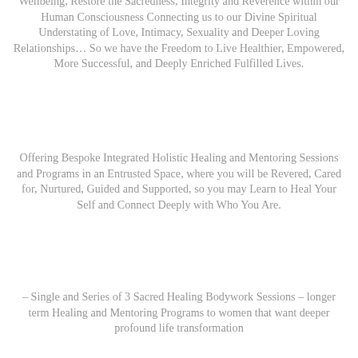Wellbeing, Restore the Sacredness, Integrity and Reverence within our Human Consciousness Connecting us to our Divine Spiritual Understating of Love, Intimacy, Sexuality and Deeper Loving Relationships… So we have the Freedom to Live Healthier, Empowered, More Successful, and Deeply Enriched Fulfilled Lives.
Offering Bespoke Integrated Holistic Healing and Mentoring Sessions and Programs in an Entrusted Space, where you will be Revered, Cared for, Nurtured, Guided and Supported, so you may Learn to Heal Your Self and Connect Deeply with Who You Are.
– Single and Series of 3 Sacred Healing Bodywork Sessions – longer term Healing and Mentoring Programs to women that want deeper profound life transformation